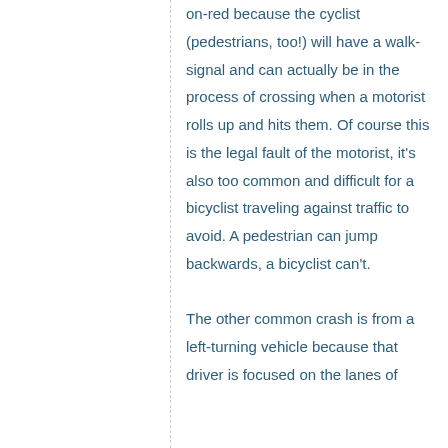on-red because the cyclist (pedestrians, too!) will have a walk-signal and can actually be in the process of crossing when a motorist rolls up and hits them. Of course this is the legal fault of the motorist, it's also too common and difficult for a bicyclist traveling against traffic to avoid. A pedestrian can jump backwards, a bicyclist can't.

The other common crash is from a left-turning vehicle because that driver is focused on the lanes of